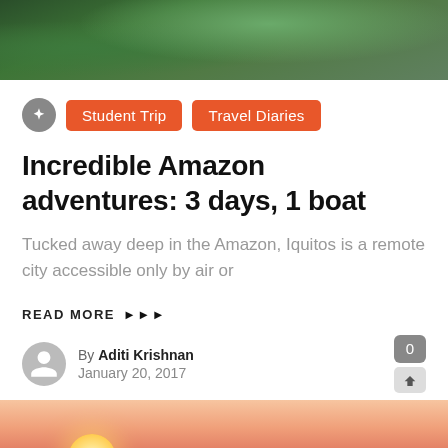[Figure (photo): Close-up photo of green tropical leaves with dew drops, dark and lush]
Student Trip | Travel Diaries
Incredible Amazon adventures: 3 days, 1 boat
Tucked away deep in the Amazon, Iquitos is a remote city accessible only by air or
READ MORE ▶▶▶
By Aditi Krishnan
January 20, 2017
[Figure (photo): Sunset scene with silhouettes of people and a hut/gazebo against a pink and orange sky with a large glowing sun]